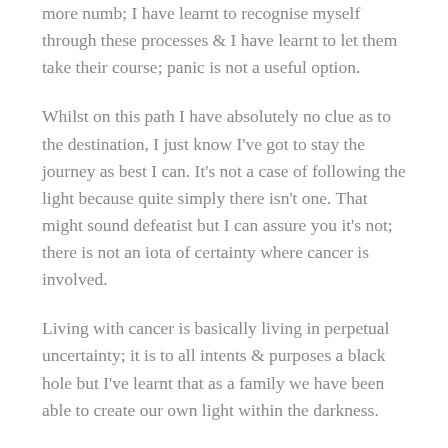more numb; I have learnt to recognise myself through these processes & I have learnt to let them take their course; panic is not a useful option.
Whilst on this path I have absolutely no clue as to the destination, I just know I've got to stay the journey as best I can. It's not a case of following the light because quite simply there isn't one. That might sound defeatist but I can assure you it's not; there is not an iota of certainty where cancer is involved.
Living with cancer is basically living in perpetual uncertainty; it is to all intents & purposes a black hole but I've learnt that as a family we have been able to create our own light within the darkness.